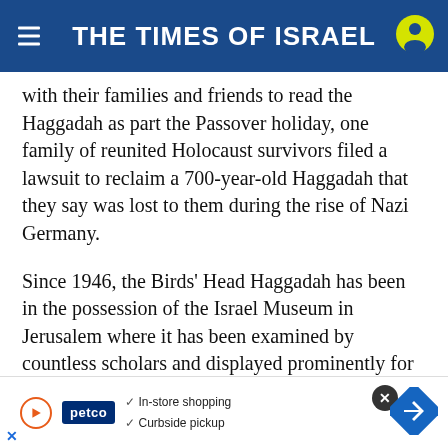THE TIMES OF ISRAEL
with their families and friends to read the Haggadah as part the Passover holiday, one family of reunited Holocaust survivors filed a lawsuit to reclaim a 700-year-old Haggadah that they say was lost to them during the rise of Nazi Germany.
Since 1946, the Birds’ Head Haggadah has been in the possession of the Israel Museum in Jerusalem where it has been examined by countless scholars and displayed prominently for millions of visitors who have passed it by.
The medieval manuscript features illustrated figures with h… make the tr… sover